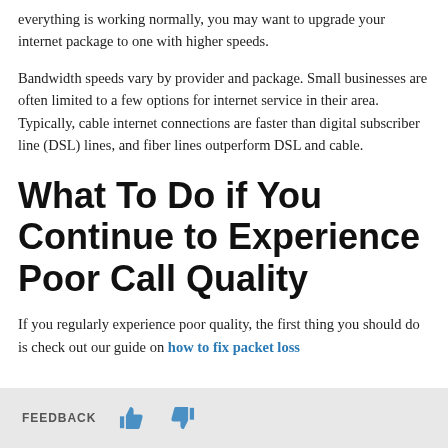everything is working normally, you may want to upgrade your internet package to one with higher speeds.
Bandwidth speeds vary by provider and package. Small businesses are often limited to a few options for internet service in their area. Typically, cable internet connections are faster than digital subscriber line (DSL) lines, and fiber lines outperform DSL and cable.
What To Do if You Continue to Experience Poor Call Quality
If you regularly experience poor quality, the first thing you should do is check out our guide on how to fix packet loss
FEEDBACK